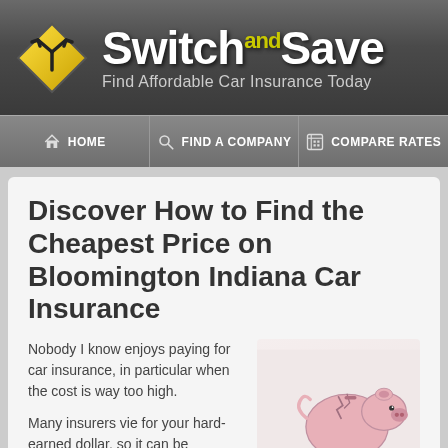[Figure (logo): Switch and Save logo — yellow diamond with fork arrow icon, bold white text 'Switch and Save' with 'and' in yellow superscript, subtitle 'Find Affordable Car Insurance Today' in gray]
HOME | FIND A COMPANY | COMPARE RATES
Discover How to Find the Cheapest Price on Bloomington Indiana Car Insurance
Nobody I know enjoys paying for car insurance, in particular when the cost is way too high.
Many insurers vie for your hard-earned dollar, so it can be
[Figure (photo): Broken pink piggy bank with coins spilling out on a white background]